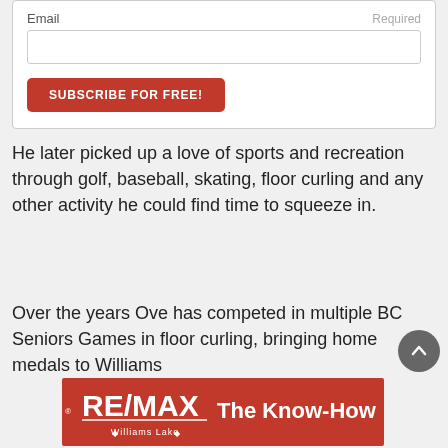Email
Required
SUBSCRIBE FOR FREE!
He later picked up a love of sports and recreation through golf, baseball, skating, floor curling and any other activity he could find time to squeeze in.
Over the years Ove has competed in multiple BC Seniors Games in floor curling, bringing home medals to Williams
[Figure (logo): RE/MAX Williams Lake - The Know-How banner advertisement in red with white text]